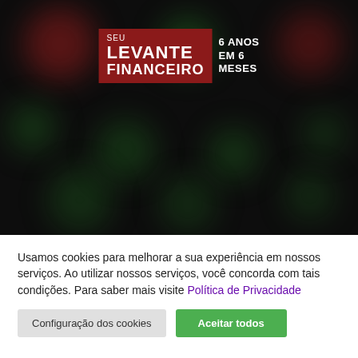[Figure (photo): Dark background with blurred bokeh circles in green and red tones, resembling a financial trading screen. Logo 'SEU LEVANTE FINANCEIRO' with '6 ANOS EM 6 MESES' text displayed over the dark background.]
Usamos cookies para melhorar a sua experiência em nossos serviços. Ao utilizar nossos serviços, você concorda com tais condições. Para saber mais visite Política de Privacidade